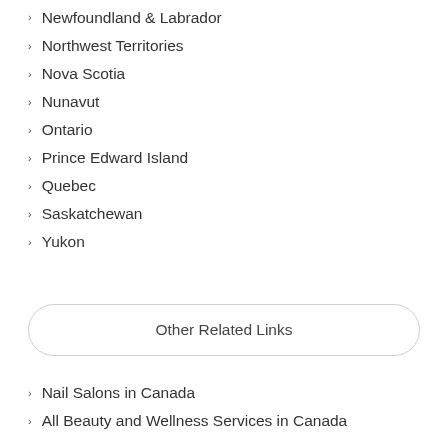Newfoundland & Labrador
Northwest Territories
Nova Scotia
Nunavut
Ontario
Prince Edward Island
Quebec
Saskatchewan
Yukon
Other Related Links
Nail Salons in Canada
All Beauty and Wellness Services in Canada